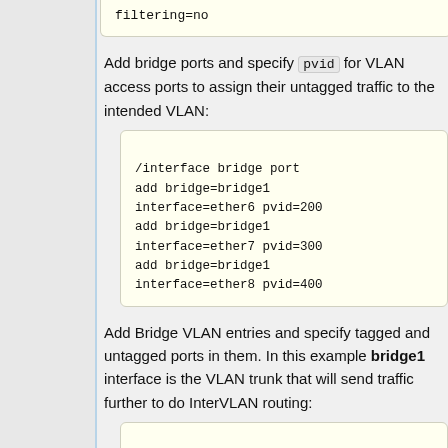filtering=no (code block, top portion)
Add bridge ports and specify pvid for VLAN access ports to assign their untagged traffic to the intended VLAN:
/interface bridge port
add bridge=bridge1 interface=ether6 pvid=200
add bridge=bridge1 interface=ether7 pvid=300
add bridge=bridge1 interface=ether8 pvid=400
Add Bridge VLAN entries and specify tagged and untagged ports in them. In this example bridge1 interface is the VLAN trunk that will send traffic further to do InterVLAN routing:
/interface bridge vlan
add bridge=bridge1 tagged=bridge1 untagged=ether6 vlan-ids=200
add bridge=bridge1